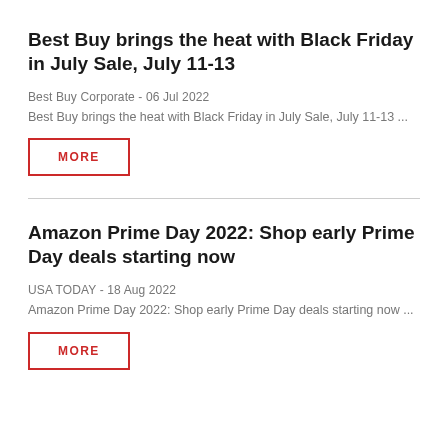Best Buy brings the heat with Black Friday in July Sale, July 11-13
Best Buy Corporate - 06 Jul 2022
Best Buy brings the heat with Black Friday in July Sale, July 11-13 ...
MORE
Amazon Prime Day 2022: Shop early Prime Day deals starting now
USA TODAY - 18 Aug 2022
Amazon Prime Day 2022: Shop early Prime Day deals starting now ...
MORE